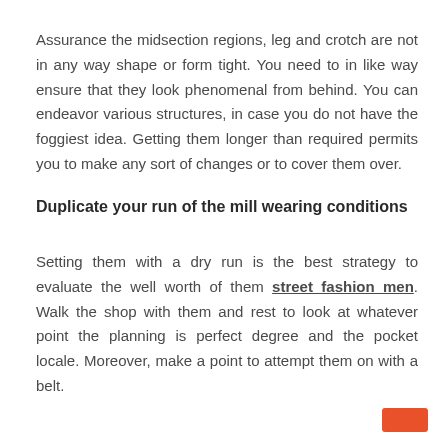Assurance the midsection regions, leg and crotch are not in any way shape or form tight. You need to in like way ensure that they look phenomenal from behind. You can endeavor various structures, in case you do not have the foggiest idea. Getting them longer than required permits you to make any sort of changes or to cover them over.
Duplicate your run of the mill wearing conditions
Setting them with a dry run is the best strategy to evaluate the well worth of them street fashion men. Walk the shop with them and rest to look at whatever point the planning is perfect degree and the pocket locale. Moreover, make a point to attempt them on with a belt.